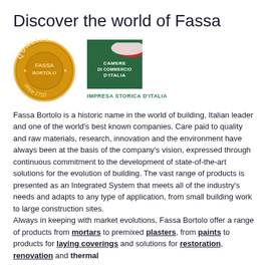Discover the world of Fassa
[Figure (logo): Fassa Bortolo quality seal — gold circular badge with text QUALITY, FASSA BORTOLO, since 1710]
[Figure (logo): Camere di Commercio d'Italia — green square logo with Italian flag motif and text CAMERE DI COMMERCIO D'ITALIA]
IMPRESA STORICA D'ITALIA
Fassa Bortolo is a historic name in the world of building, Italian leader and one of the world's best known companies. Care paid to quality and raw materials, research, innovation and the environment have always been at the basis of the company's vision, expressed through continuous commitment to the development of state-of-the-art solutions for the evolution of building. The vast range of products is presented as an Integrated System that meets all of the industry's needs and adapts to any type of application, from small building work to large construction sites. Always in keeping with market evolutions, Fassa Bortolo offer a range of products from mortars to premixed plasters, from paints to products for laying coverings and solutions for restoration, renovation and thermal